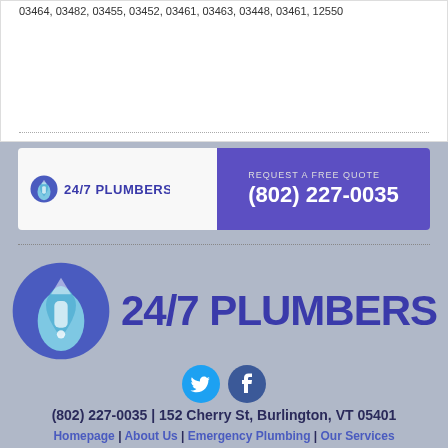03464, 03482, 03455, 03452, 03461, 03463, 03448, 03461, 12550
[Figure (infographic): 24/7 Plumbers banner with logo on left white background and phone number (802) 227-0035 on purple right side with REQUEST A FREE QUOTE text]
[Figure (logo): 24/7 Plumbers large logo with droplet/wrench icon and text 24/7 PLUMBERS in dark blue]
[Figure (infographic): Twitter and Facebook social media icons in blue circles]
(802) 227-0035 | 152 Cherry St, Burlington, VT 05401
Homepage | About Us | Emergency Plumbing | Our Services | Are You a Plumber? | Contact Us
© 2022 24/7 Plumbers All Rights Reserved
Do Not Sell My Info